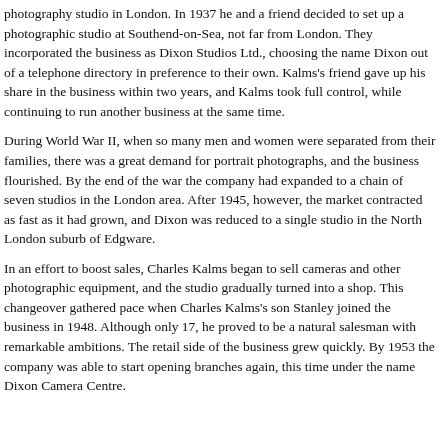photography studio in London. In 1937 he and a friend decided to set up a photographic studio at Southend-on-Sea, not far from London. They incorporated the business as Dixon Studios Ltd., choosing the name Dixon out of a telephone directory in preference to their own. Kalms's friend gave up his share in the business within two years, and Kalms took full control, while continuing to run another business at the same time.
During World War II, when so many men and women were separated from their families, there was a great demand for portrait photographs, and the business flourished. By the end of the war the company had expanded to a chain of seven studios in the London area. After 1945, however, the market contracted as fast as it had grown, and Dixon was reduced to a single studio in the North London suburb of Edgware.
In an effort to boost sales, Charles Kalms began to sell cameras and other photographic equipment, and the studio gradually turned into a shop. This changeover gathered pace when Charles Kalms's son Stanley joined the business in 1948. Although only 17, he proved to be a natural salesman with remarkable ambitions. The retail side of the business grew quickly. By 1953 the company was able to start opening branches again, this time under the name Dixon Camera Centre.